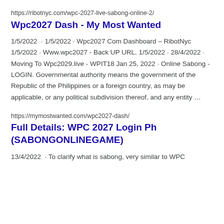https://ribotnyc.com/wpc-2027-live-sabong-online-2/
Wpc2027 Dash - My Most Wanted
1/5/2022  · 1/5/2022 · Wpc2027 Com Dashboard – RibotNyc 1/5/2022 · Www.wpc2027 - Back UP URL. 1/5/2022 · 28/4/2022 · Moving To Wpc2029.live - WPIT18 Jan 25, 2022 · Online Sabong - LOGIN. Governmental authority means the government of the Republic of the Philippines or a foreign country, as may be applicable, or any political subdivision thereof, and any entity …
https://mymostwanted.com/wpc2027-dash/
Full Details: WPC 2027 Login Ph (SABONGONLINEGAME)
13/4/2022  · To clarify what is sabong, very similar to WPC